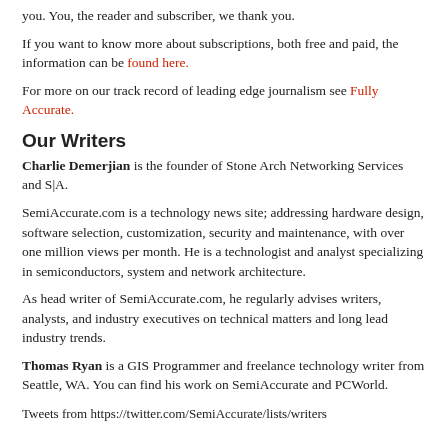you. You, the reader and subscriber, we thank you.
If you want to know more about subscriptions, both free and paid, the information can be found here.
For more on our track record of leading edge journalism see Fully Accurate.
Our Writers
Charlie Demerjian is the founder of Stone Arch Networking Services and S|A.
SemiAccurate.com is a technology news site; addressing hardware design, software selection, customization, security and maintenance, with over one million views per month. He is a technologist and analyst specializing in semiconductors, system and network architecture.
As head writer of SemiAccurate.com, he regularly advises writers, analysts, and industry executives on technical matters and long lead industry trends.
Thomas Ryan is a GIS Programmer and freelance technology writer from Seattle, WA. You can find his work on SemiAccurate and PCWorld.
Tweets from https://twitter.com/SemiAccurate/lists/writers